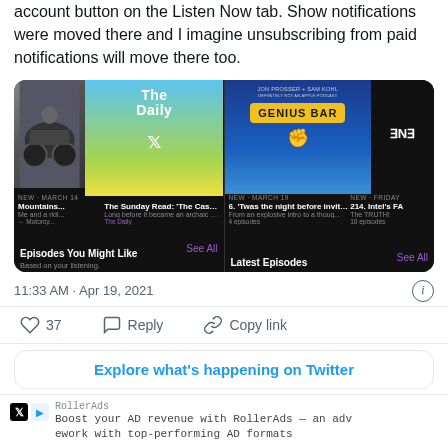account button on the Listen Now tab. Show notifications were moved there and I imagine unsubscribing from paid notifications will move there too.
[Figure (screenshot): Screenshot of Apple Podcasts app showing two panels: left panel shows 'The Daily' podcast card with NYT logo and motorcycle image, with 'Episodes You Might Like' section; right panel shows 'Genius Bar' podcast by Jon Prosser + Sam Kohl and 'Latest Episodes' section.]
11:33 AM · Apr 19, 2021
37  Reply  Copy link
Explore what's happening on Twitter
RollerAds
Boost your AD revenue with RollerAds — an adv
network with top-performing AD formats